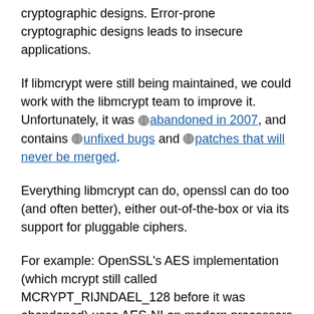cryptographic designs. Error-prone cryptographic designs leads to insecure applications.
If libmcrypt were still being maintained, we could work with the libmcrypt team to improve it. Unfortunately, it was abandoned in 2007, and contains unfixed bugs and patches that will never be merged.
Everything libmcrypt can do, openssl can do too (and often better), either out-of-the-box or via its support for pluggable ciphers.
For example: OpenSSL's AES implementation (which mcrypt still called MCRYPT_RIJNDAEL_128 before it was abandoned) uses AES-NI on modern processors to deliver very fast AES that withstands cache-timing attacks. Mcrypt's AES still used S-boxes.